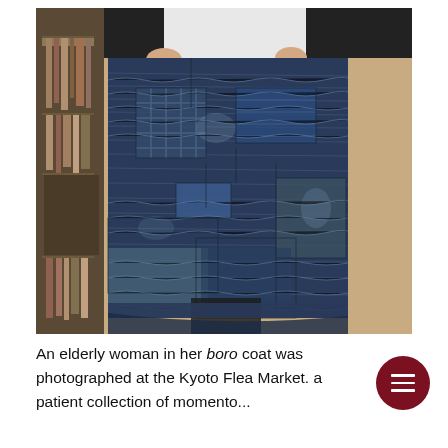[Figure (photo): An elderly woman holding up a large boro textile/coat made of patched and heavily stitched indigo blue fabric, displaying it in what appears to be an indoor setting with bookshelves visible in the background.]
An elderly woman in her boro coat was photographed at the Kyoto Flea Market. a patient collection of momento...